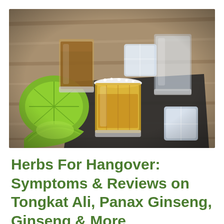[Figure (photo): Photo of shot glasses with tequila and lime wedges on a dark slate board with ice cubes on a wooden table background.]
Herbs For Hangover: Symptoms & Reviews on Tongkat Ali, Panax Ginseng, Ginseng & More